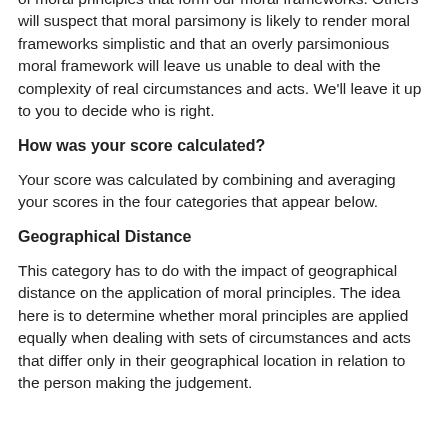of moral principles that form our moral frameworks. Others will suspect that moral parsimony is likely to render moral frameworks simplistic and that an overly parsimonious moral framework will leave us unable to deal with the complexity of real circumstances and acts. We'll leave it up to you to decide who is right.
How was your score calculated?
Your score was calculated by combining and averaging your scores in the four categories that appear below.
Geographical Distance
This category has to do with the impact of geographical distance on the application of moral principles. The idea here is to determine whether moral principles are applied equally when dealing with sets of circumstances and acts that differ only in their geographical location in relation to the person making the judgement.